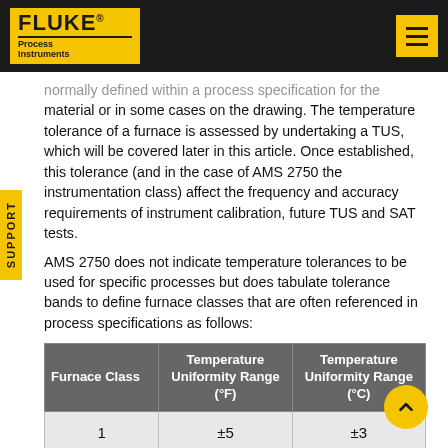FLUKE Process Instruments
normally defined within a process specification for the material or in some cases on the drawing. The temperature tolerance of a furnace is assessed by undertaking a TUS, which will be covered later in this article. Once established, this tolerance (and in the case of AMS 2750 the instrumentation class) affect the frequency and accuracy requirements of instrument calibration, future TUS and SAT tests.
AMS 2750 does not indicate temperature tolerances to be used for specific processes but does tabulate tolerance bands to define furnace classes that are often referenced in process specifications as follows:
| Furnace Class | Temperature Uniformity Range (°F) | Temperature Uniformity Range (°C) |
| --- | --- | --- |
| 1 | ±5 | ±3 |
| 2 | ±10 | ±6 |